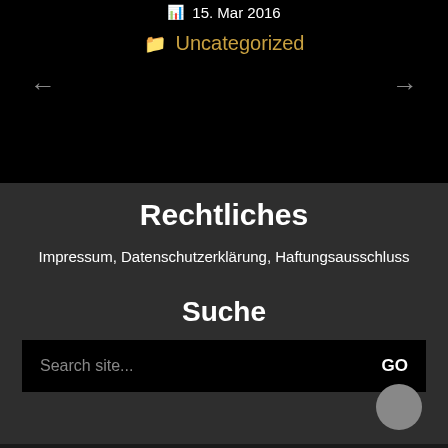15. Mar 2016
Uncategorized
Rechtliches
Impressum, Datenschutzerklärung, Haftungsausschluss
Suche
Search site...  GO